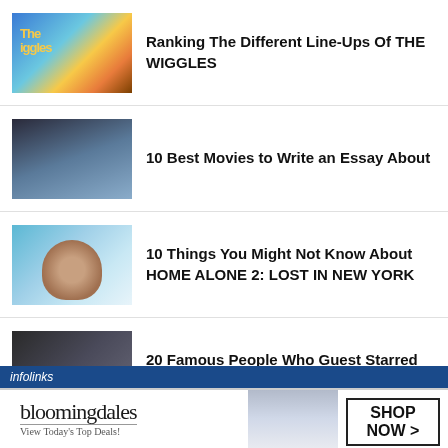Ranking The Different Line-Ups Of THE WIGGLES
10 Best Movies to Write an Essay About
10 Things You Might Not Know About HOME ALONE 2: LOST IN NEW YORK
20 Famous People Who Guest Starred On THE A-TEAM
[Figure (infographic): infolinks advertisement bar]
[Figure (infographic): Bloomingdale's advertisement banner with shop now button]